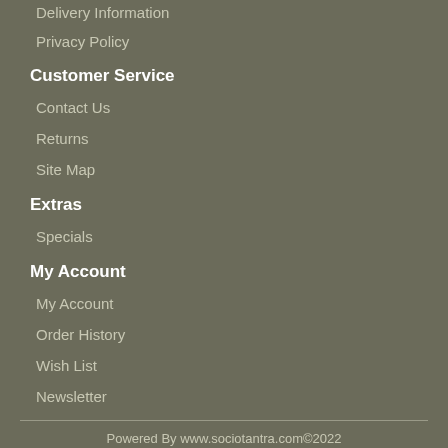Delivery Information
Privacy Policy
Customer Service
Contact Us
Returns
Site Map
Extras
Specials
My Account
My Account
Order History
Wish List
Newsletter
Powered By www.sociotantra.com©2022